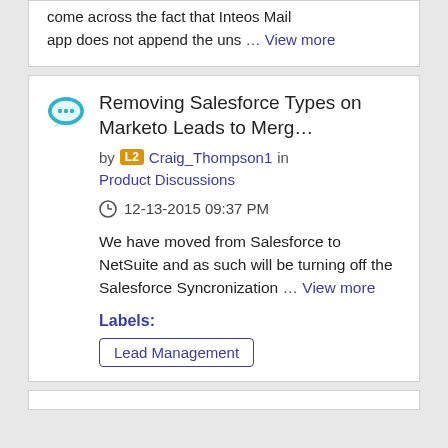come across the fact that Inteos Mail app does not append the uns … View more
Removing Salesforce Types on Marketo Leads to Merg…
by [L2] Craig_Thompson1 in Product Discussions
12-13-2015 09:37 PM
We have moved from Salesforce to NetSuite and as such will be turning off the Salesforce Syncronization … View more
Labels:
Lead Management